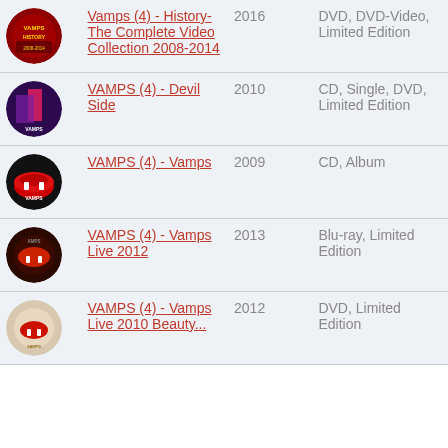| Image | Title | Year | Format |
| --- | --- | --- | --- |
| [thumb] | Vamps (4) - History-The Complete Video Collection 2008-2014 | 2016 | DVD, DVD-Video, Limited Edition |
| [thumb] | VAMPS (4) - Devil Side | 2010 | CD, Single, DVD, Limited Edition |
| [thumb] | VAMPS (4) - Vamps | 2009 | CD, Album |
| [thumb] | VAMPS (4) - Vamps Live 2012 | 2013 | Blu-ray, Limited Edition |
| [thumb] | VAMPS (4) - Vamps Live 2010 Beauty... | 2012 | DVD, Limited Edition |